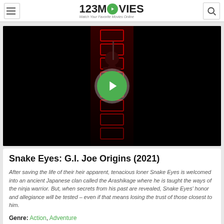123MOVIES - Watch Your Favorite Movies Online
[Figure (screenshot): Movie thumbnail for Snake Eyes: G.I. Joe Origins showing a figure holding a weapon against a dark background with red neon lights, with a green play button overlay.]
Snake Eyes: G.I. Joe Origins (2021)
After saving the life of their heir apparent, tenacious loner Snake Eyes is welcomed into an ancient Japanese clan called the Arashikage where he is taught the ways of the ninja warrior. But, when secrets from his past are revealed, Snake Eyes' honor and allegiance will be tested – even if that means losing the trust of those closest to him.
Genre: Action, Adventure
Director: James Madigan, Robert Schwentke